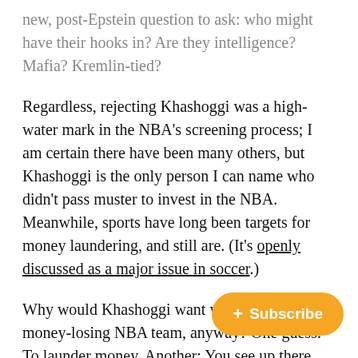new, post-Epstein question to ask: who might have their hooks in? Are they intelligence? Mafia? Kremlin-tied?
Regardless, rejecting Khashoggi was a high-water mark in the NBA's screening process; I am certain there have been many others, but Khashoggi is the only person I can name who didn't pass muster to invest in the NBA. Meanwhile, sports have long been targets for money laundering, and still are. (It's openly discussed as a major issue in soccer.)
Why would Khashoggi want what was then a money-losing NBA team, anyway? One guess: To launder money. Another: You see up there where I quoted Matt Stieb? Or Larry Miller? Or any writer… dealer Khashoggi. It always does. Kha… says he loathed that title. Despite his money, I'm sure